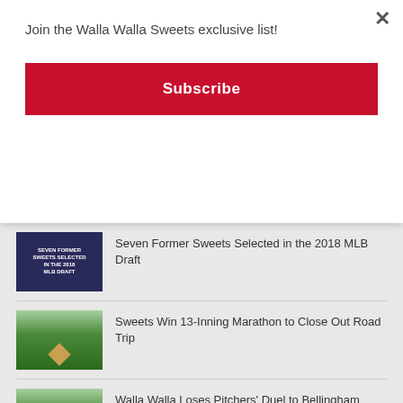Join the Walla Walla Sweets exclusive list!
Subscribe
Seven Former Sweets Selected in the 2018 MLB Draft
Sweets Win 13-Inning Marathon to Close Out Road Trip
Walla Walla Loses Pitchers' Duel to Bellingham
W2 Loses Opening Game of Series to Bellingham
Sweets Drop Rubber Match to the